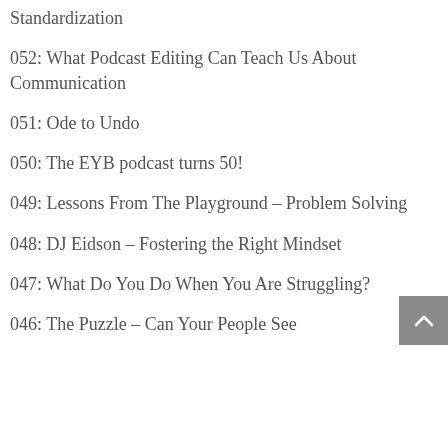Standardization
052: What Podcast Editing Can Teach Us About Communication
051: Ode to Undo
050: The EYB podcast turns 50!
049: Lessons From The Playground – Problem Solving
048: DJ Eidson – Fostering the Right Mindset
047: What Do You Do When You Are Struggling?
046: The Puzzle – Can Your People See